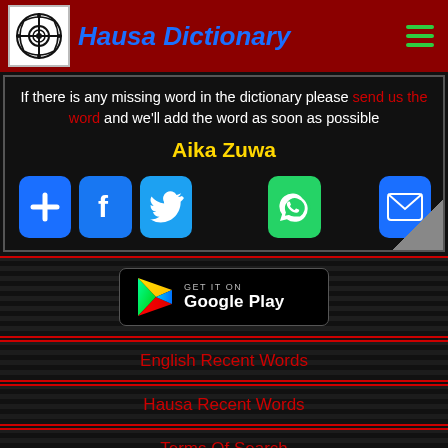Hausa Dictionary
If there is any missing word in the dictionary please send us the word and we'll add the word as soon as possible
Aika Zuwa
[Figure (infographic): Social share buttons: Add, Facebook, Twitter, WhatsApp, Email]
[Figure (logo): Get it on Google Play badge]
English Recent Words
Hausa Recent Words
Terms Of Search
Disclaimer | About Us
Tuntubemu | Contact Us